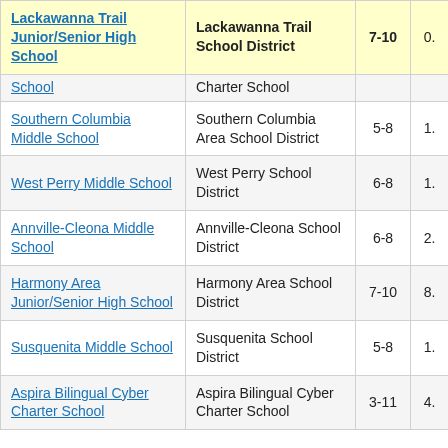| School | District | Grades |  |
| --- | --- | --- | --- |
| Lackawanna Trail Junior/Senior High School | Lackawanna Trail School District | 7-10 | 0. |
| School (partial) | Charter School (partial) |  |  |
| Southern Columbia Middle School | Southern Columbia Area School District | 5-8 | 1. |
| West Perry Middle School | West Perry School District | 6-8 | 1. |
| Annville-Cleona Middle School | Annville-Cleona School District | 6-8 | 2. |
| Harmony Area Junior/Senior High School | Harmony Area School District | 7-10 | 8. |
| Susquenita Middle School | Susquenita School District | 5-8 | 1. |
| Aspira Bilingual Cyber Charter School | Aspira Bilingual Cyber Charter School | 3-11 | 4. |